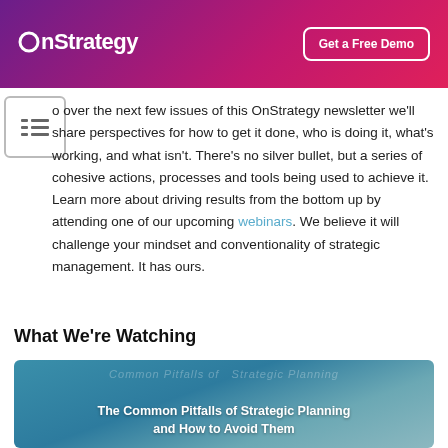OnStrategy | Get a Free Demo
o over the next few issues of this OnStrategy newsletter we'll share perspectives for how to get it done, who is doing it, what's working, and what isn't. There's no silver bullet, but a series of cohesive actions, processes and tools being used to achieve it. Learn more about driving results from the bottom up by attending one of our upcoming webinars. We believe it will challenge your mindset and conventionality of strategic management. It has ours.
What We're Watching
[Figure (illustration): Thumbnail image with teal background showing 'The Common Pitfalls of Strategic Planning and How to Avoid Them' title text overlaid, with partial face silhouette visible on the left.]